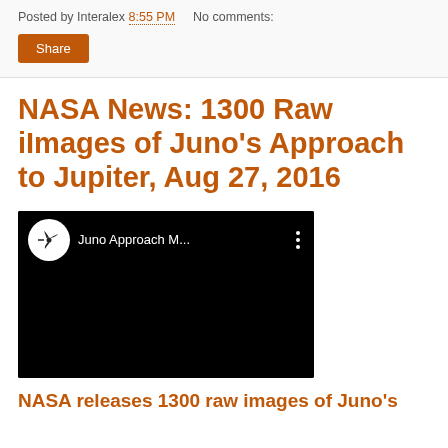Posted by Interalex 8:55 PM   No comments:
Share
NASA News: 1300 Raw iImages of Juno's Approach to Jupiter, Aug 27, 2016
[Figure (screenshot): Embedded YouTube video player showing 'Juno Approach M...' with a circular logo featuring a propeller/spacecraft icon on a dark background]
NASA releases 1300 raw images of Juno's